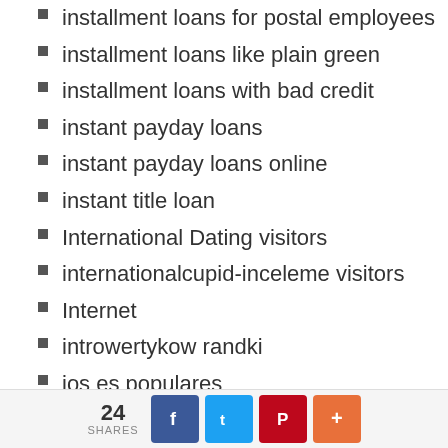installment loans for postal employees
installment loans like plain green
installment loans with bad credit
instant payday loans
instant payday loans online
instant title loan
International Dating visitors
internationalcupid-inceleme visitors
Internet
introwertykow randki
ios es populares
iOS Hookup Apps review
jacksonville escort
jacksonville escort book
Japan Cupid review
24 SHARES